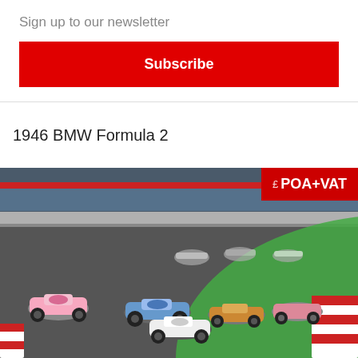×
Sign up to our newsletter
Subscribe
1946 BMW Formula 2
[Figure (photo): A pack of open-wheel racing cars (Formula-style) negotiating a corner on a racing circuit. Multiple colourful cars in the foreground and background. Grandstand visible behind safety barriers. Price badge reading £ POA+VAT overlaid top-right.]